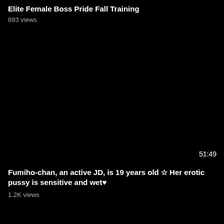Elite Female Boss Pride Fall Training
893 views
[Figure (screenshot): Black video thumbnail area with duration timestamp 51:49 in the bottom right corner]
Fumiho-chan, an active JD, is 19 years old ☆ Her erotic pussy is sensitive and wet♥
1.2K views